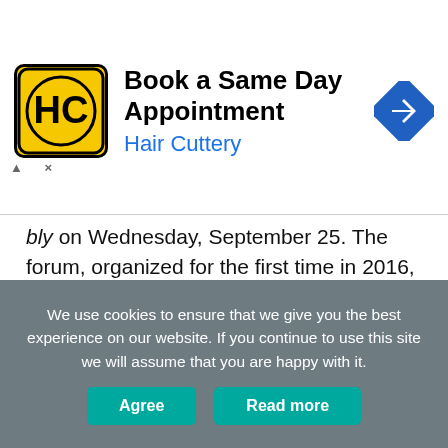[Figure (screenshot): Advertisement banner for Hair Cuttery: logo (HC in yellow square), text 'Book a Same Day Appointment' and 'Hair Cuttery' in blue, navigation icon on right]
bly on Wednesday, September 25. The forum, organized for the first time in 2016, is an opportunity for investors and industry representatives to examine the future of the evolving electronics industry and their roles in it.
Jonas Sjoberg, Technical Manager, will present at the India PCB Tech Conference during the “Global PCB Industry & Supply Chain in China” program at 11:15 a.m. on Tuesday, September 26.
We use cookies to ensure that we give you the best experience on our website. If you continue to use this site we will assume that you are happy with it.